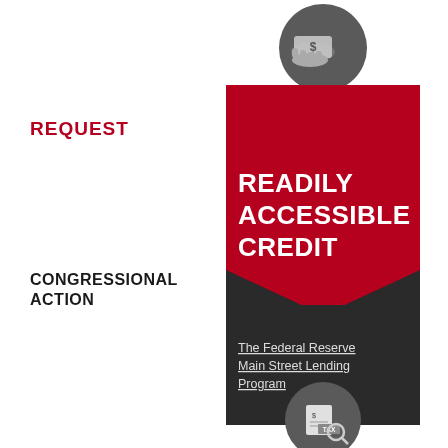[Figure (infographic): Infographic panel showing a dark red/crimson rectangle with a white bold text 'READILY ACCESSIBLE CREDIT', a dark chevron/arrow shape at bottom, a gray circle icon at top with a hand holding money, and a dark gray rectangle below with text about the Federal Reserve Main Street Lending Program. A second gray circle with a tax document icon appears at the bottom of the page.]
REQUEST
CONGRESSIONAL ACTION
The Federal Reserve Main Street Lending Program